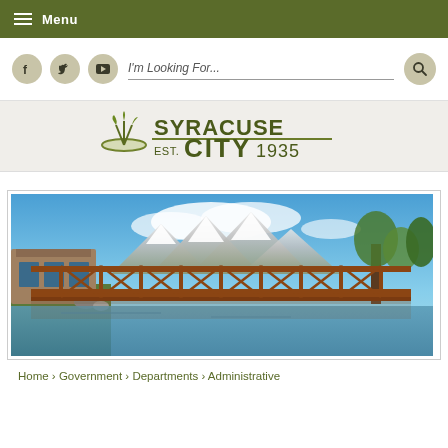Menu
[Figure (screenshot): Search bar with social media icons (Facebook, Twitter, YouTube), search input placeholder 'I'm Looking For...', and search button]
[Figure (logo): Syracuse City Est. 1935 logo with plant/bowl icon]
[Figure (photo): Photo of a brown iron truss bridge over water with snow-capped mountains and blue sky in the background, next to a stone building]
Home › Government › Departments › Administrative